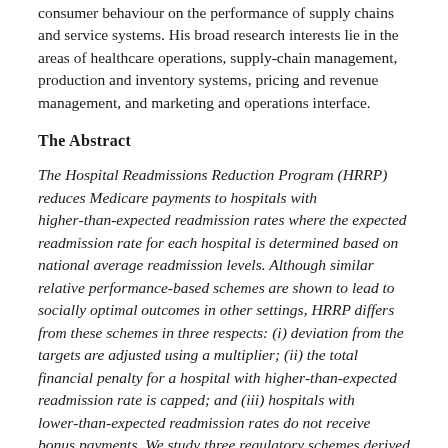consumer behaviour on the performance of supply chains and service systems. His broad research interests lie in the areas of healthcare operations, supply-chain management, production and inventory systems, pricing and revenue management, and marketing and operations interface.
The Abstract
The Hospital Readmissions Reduction Program (HRRP) reduces Medicare payments to hospitals with higher-than-expected readmission rates where the expected readmission rate for each hospital is determined based on national average readmission levels. Although similar relative performance-based schemes are shown to lead to socially optimal outcomes in other settings, HRRP differs from these schemes in three respects: (i) deviation from the targets are adjusted using a multiplier; (ii) the total financial penalty for a hospital with higher-than-expected readmission rate is capped; and (iii) hospitals with lower-than-expected readmission rates do not receive bonus payments. We study three regulatory schemes derived from HRRP to